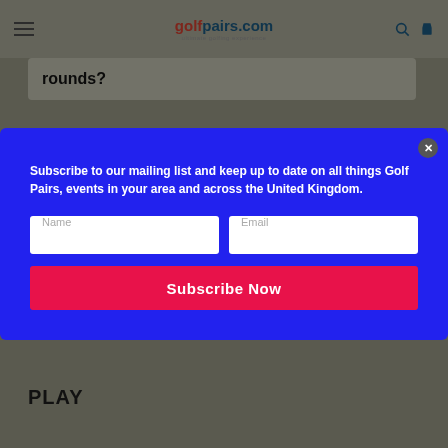golfpairs.com — ultimate golfing experience
rounds?
Subscribe to our mailing list and keep up to date on all things Golf Pairs, events in your area and across the United Kingdom.
Name
Email
Subscribe Now
PLAY